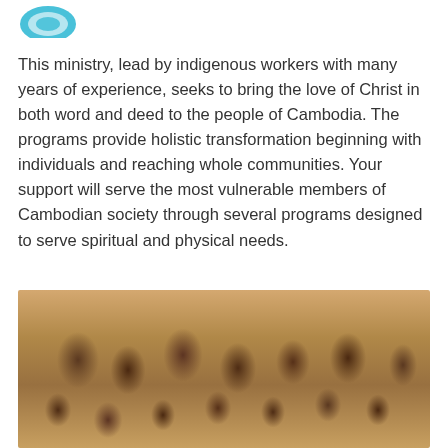[Figure (logo): Partial logo visible at top left, appears to be a circular/teardrop shape in teal/blue color]
This ministry, lead by indigenous workers with many years of experience, seeks to bring the love of Christ in both word and deed to the people of Cambodia. The programs provide holistic transformation beginning with individuals and reaching whole communities. Your support will serve the most vulnerable members of Cambodian society through several programs designed to serve spiritual and physical needs.
[Figure (photo): A group of smiling and laughing Cambodian children, sitting and standing together outdoors]